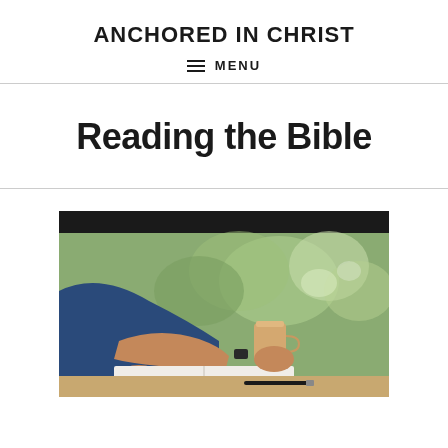ANCHORED IN CHRIST
≡ MENU
Reading the Bible
[Figure (photo): A person reading a Bible or book at a table outdoors, holding a coffee cup, with green blurred background. A pen is visible on the table.]